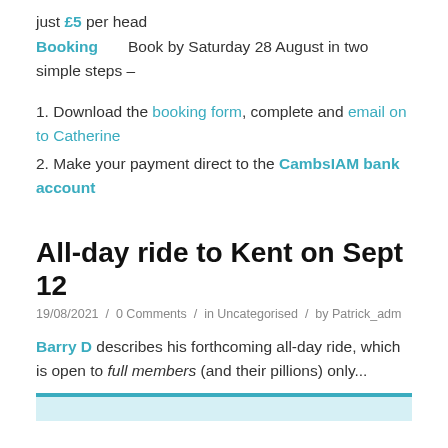just £5 per head
Booking    Book by Saturday 28 August in two simple steps –
1. Download the booking form, complete and email on to Catherine
2. Make your payment direct to the CambsIAM bank account
All-day ride to Kent on Sept 12
19/08/2021 / 0 Comments / in Uncategorised / by Patrick_adm
Barry D describes his forthcoming all-day ride, which is open to full members (and their pillions) only...
[Figure (other): Preview image strip with teal top bar and light blue background]